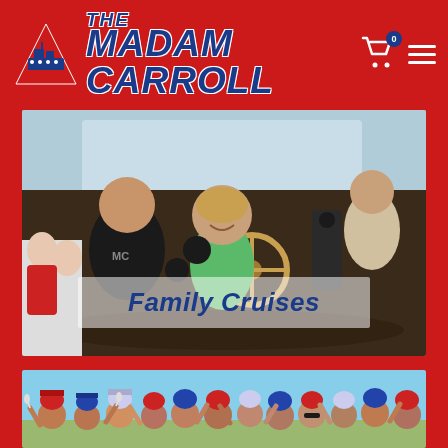THE MADAM CARROLL
[Figure (photo): A young girl smiling at the wheel of a boat, with an adult in a black MC shirt standing behind her and another person visible in the background. Interior of a boat wheelhouse with windows showing water and trees.]
Family Cruises
[Figure (photo): Group of people in costumes including red and blue elf/gnome hats, waving their hands in the air outdoors against a blue sky.]